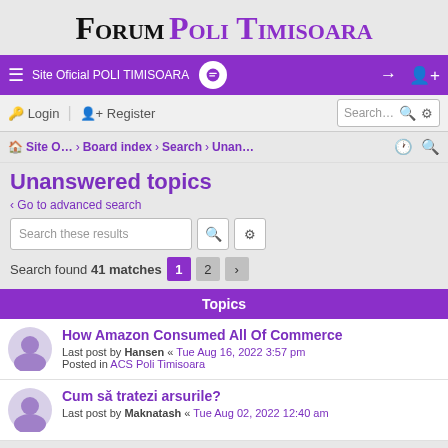Forum Poli Timisoara
Site Oficial POLI TIMISOARA | Login | Register | Search
Site O... › Board index › Search › Unan...
Unanswered topics
‹ Go to advanced search
Search these results
Search found 41 matches  1  2  ›
| Topics |
| --- |
| How Amazon Consumed All Of Commerce
Last post by Hansen « Tue Aug 16, 2022 3:57 pm
Posted in ACS Poli Timisoara |
| Cum să tratezi arsurile?
Last post by Maknatash « Tue Aug 02, 2022 12:40 am |